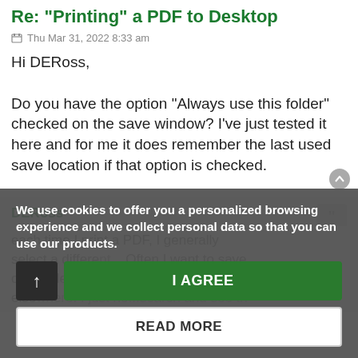Re: "Printing" a PDF to Desktop
Thu Mar 31, 2022 8:33 am
Hi DERoss,

Do you have the option "Always use this folder" checked on the save window? I've just tested it here and for me it does remember the last used save location if that option is checked.
DERoss
We use cookies to offer you a personalized browsing experience and we collect personal data so that you can use our products.
I AGREE
READ MORE